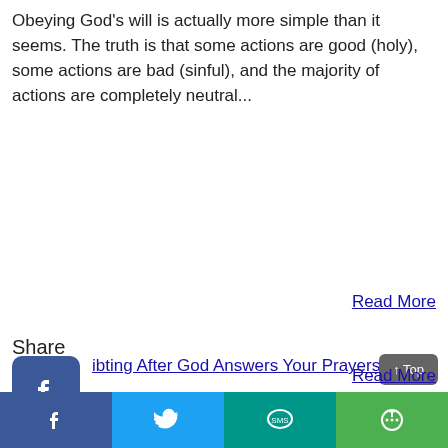Obeying God's will is actually more simple than it seems. The truth is that some actions are good (holy), some actions are bad (sinful), and the majority of actions are completely neutral...
Read More
Share
ibting After God Answers Your Prayers
ng God answer your prayers can result in whelming feelings of joy, relief, and thankfulness. However, sometimes doubt of God's intervention can appear and begin to steal your confidence...
Read More
↑ Top